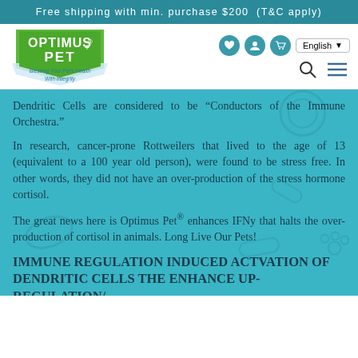Free shipping with min. purchase $200 (T&C apply)
[Figure (logo): Optimus Pet logo — green shield/banner shape with white text 'OPTIMUS PET+' and tagline 'Blessing Your Pet's Health With Integrity']
Dendritic Cells are considered to be "Conductors of the Immune Orchestra."
In research, cancer-prone Rottweilers that lived to the age of 13 (equivalent to a 100 year old person), were found to be stress free. In other words, they did not have an over-production of the stress hormone cortisol.
The great news here is Optimus Pet® enhances IFNy that halts the over-production of cortisol in animals. Long Live Our Pets!
IMMUNE REGULATION INDUCED ACTVATION OF DENDRITIC CELLS THE ENHANCE UP-REGULATION/